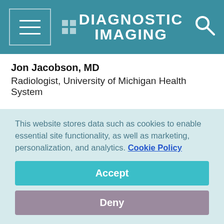DIAGNOSTIC IMAGING
Jon Jacobson, MD
Radiologist, University of Michigan Health System
“Jon is a superb teacher and expert in musculoskeletal ultrasound. He has also written a widely read book on the subject.”
Vote for Dr. Jacobson here.
This website stores data such as cookies to enable essential site functionality, as well as marketing, personalization, and analytics. Cookie Policy
Accept
Deny